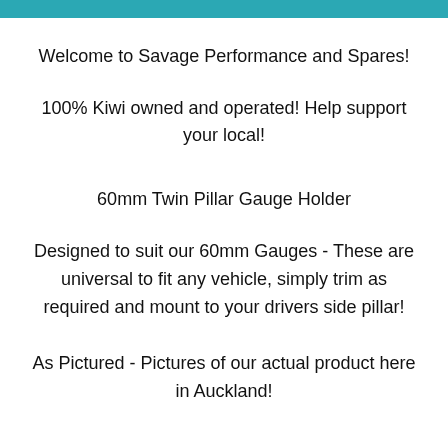Welcome to Savage Performance and Spares!
100% Kiwi owned and operated! Help support your local!
60mm Twin Pillar Gauge Holder
Designed to suit our 60mm Gauges - These are universal to fit any vehicle, simply trim as required and mount to your drivers side pillar!
As Pictured - Pictures of our actual product here in Auckland!